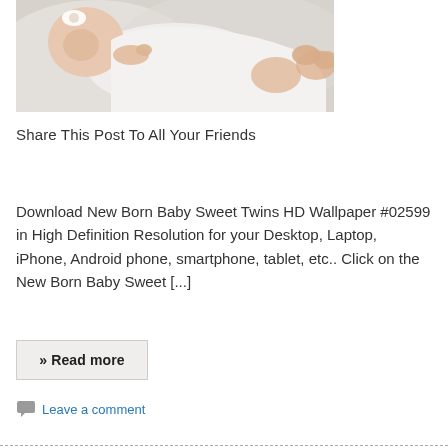[Figure (photo): A newborn baby lying on a white fluffy blanket wearing a white cloth wrap, with a white flower headband]
Share This Post To All Your Friends
Download New Born Baby Sweet Twins HD Wallpaper #02599 in High Definition Resolution for your Desktop, Laptop, iPhone, Android phone, smartphone, tablet, etc.. Click on the New Born Baby Sweet [...]
» Read more
Leave a comment